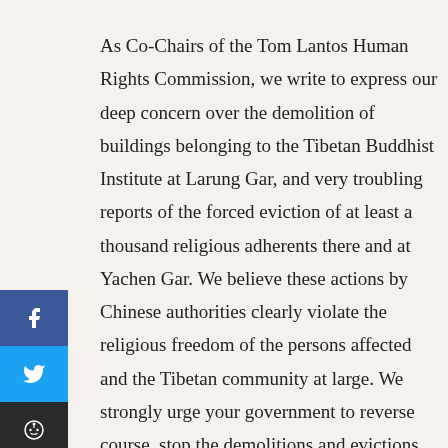As Co-Chairs of the Tom Lantos Human Rights Commission, we write to express our deep concern over the demolition of buildings belonging to the Tibetan Buddhist Institute at Larung Gar, and very troubling reports of the forced eviction of at least a thousand religious adherents there and at Yachen Gar. We believe these actions by Chinese authorities clearly violate the religious freedom of the persons affected and the Tibetan community at large. We strongly urge your government to reverse course, stop the demolitions and evictions, rebuild and restore the affected infrastructure, and permit all those people under Chinese jurisdiction who wish to pursue their Buddhist faith to do so without
[Figure (other): Social media share buttons on the left side: Facebook (blue), Twitter (light blue), Reddit (dark), SMS (green), Email (dark)]